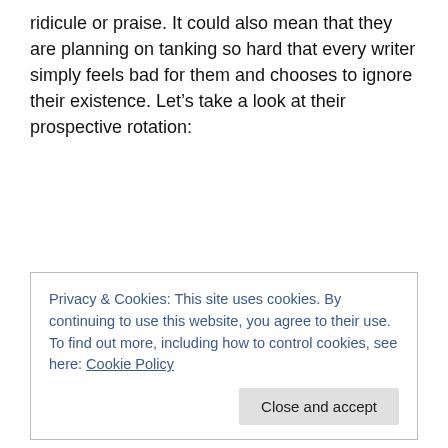ridicule or praise. It could also mean that they are planning on tanking so hard that every writer simply feels bad for them and chooses to ignore their existence. Let’s take a look at their prospective rotation:
Carlos Rodon – I always get him mixed up with Bruce Rondon, who is equally inferior
Lucas Giolito – That’s FORMER PROSPECT Lucas Giolito to you, sir.
Carson Fulmer – He looked really good in Single A Ball…3 years ago…
Privacy & Cookies: This site uses cookies. By continuing to use this website, you agree to their use.
To find out more, including how to control cookies, see here: Cookie Policy